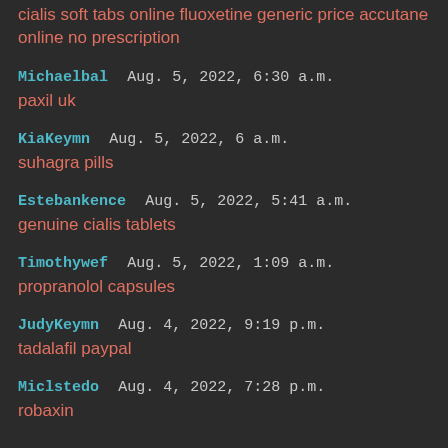cialis soft tabs online fluoxetine generic price accutane online no prescription
Michaelbal  Aug. 5, 2022, 6:30 a.m.
paxil uk
KiaKeymn  Aug. 5, 2022, 6 a.m.
suhagra pills
Estebankence  Aug. 5, 2022, 5:41 a.m.
genuine cialis tablets
Timothywef  Aug. 5, 2022, 1:09 a.m.
propranolol capsules
JudyKeymn  Aug. 4, 2022, 9:19 p.m.
tadalafil paypal
Miclstedo  Aug. 4, 2022, 7:28 p.m.
robaxin